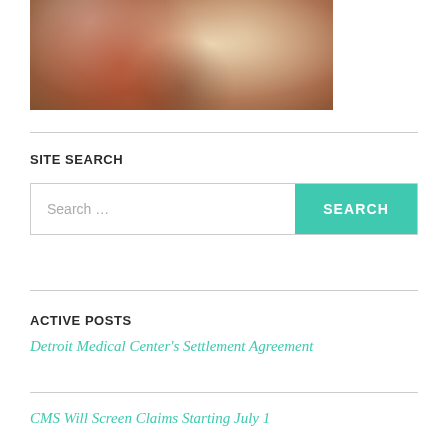[Figure (photo): Close-up photo of a person wearing a patterned scarf or garment with red, white, and dark spotted design]
SITE SEARCH
Search …
ACTIVE POSTS
Detroit Medical Center's Settlement Agreement
CMS Will Screen Claims Starting July 1